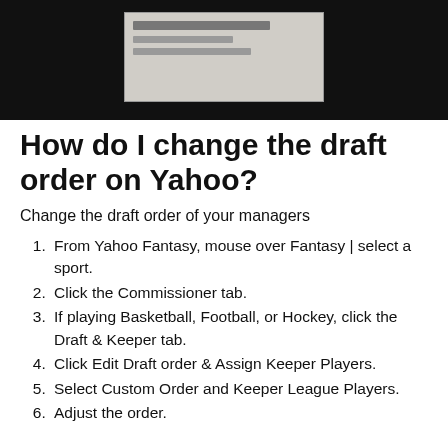[Figure (screenshot): Screenshot thumbnail showing a dark banner with a browser/app screenshot in the center displaying some content with a table or list view]
How do I change the draft order on Yahoo?
Change the draft order of your managers
From Yahoo Fantasy, mouse over Fantasy | select a sport.
Click the Commissioner tab.
If playing Basketball, Football, or Hockey, click the Draft & Keeper tab.
Click Edit Draft order & Assign Keeper Players.
Select Custom Order and Keeper League Players.
Adjust the order.